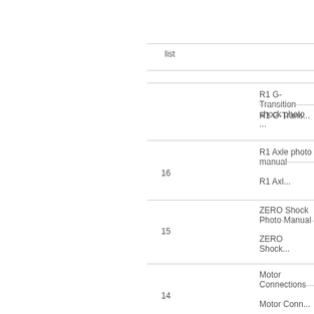list
R1 G-Transition shock photo ...
R1 G-Trans...
R1 Axle photo manual
16
R1 Axl...
ZERO Shock Photo Manual
15
ZERO Shock...
Motor Connections
14
Motor Conn...